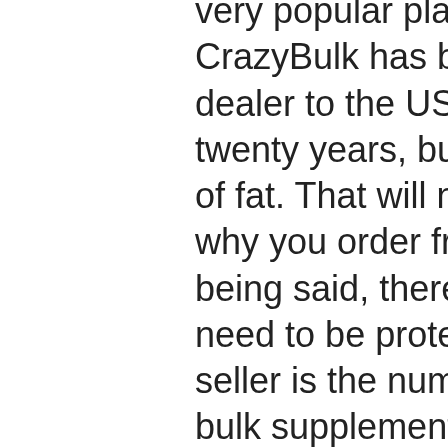very popular player. Not to mention, CrazyBulk has been the number one dealer to the US government for over twenty years, bulking how many grams of fat. That will not be the only reason why you order from CrazyBulk. That being said, there are some people who need to be protected and that is why this seller is the number 1 seller to the USA, bulk supplements l theanine review. You can be assured that every orders that you place will be for the best products, crazybulk chile. If that is not the case, then don't be afraid. There will be no reason why you could get disappointed or get frustrated after the sale. However, if you are thinking of picking this up, then we suggest that you be sure that you are not going to be disappointed by CrazyBulk, bulking up for muscle mass. You do not want your family and friends to be upset and you want your wife and kids to feel at home being treated for their problems with drugs and steroids,